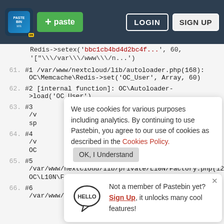[Figure (screenshot): Pastebin website header with logo, green paste button, LOGIN and SIGN UP buttons on dark navy background]
Redis->setex('bbc1cb4bd4d2bc4f...', 60,
'["\\/var\\/www\\/n...')
61. #1 /var/www/nextcloud/lib/autoloader.php(168):
OC\Memcache\Redis->set('OC_User', Array, 60)
62. #2 [internal function]: OC\Autoloader-
>load('OC_User')
63. #3
We use cookies for various purposes including analytics. By continuing to use Pastebin, you agree to our use of cookies as described in the Cookies Policy. OK, I Understand
64. #4
Not a member of Pastebin yet? Sign Up, it unlocks many cool features!
65. #5
/var/www/nextcloud/lib/private/L10N/Factory.php(127)
OC\L10N\Factory->findLanguage('lib')
66. #6
/var/www/nextcloud/lib/private/Server.php(1499):